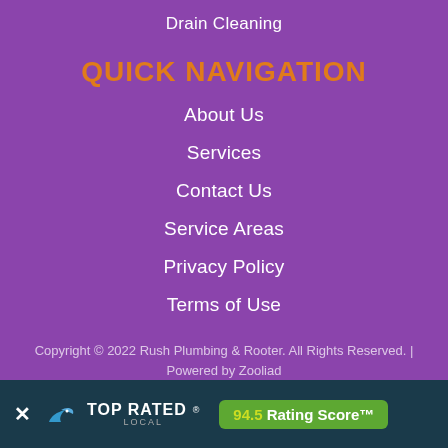Drain Cleaning
QUICK NAVIGATION
About Us
Services
Contact Us
Service Areas
Privacy Policy
Terms of Use
Copyright © 2022 Rush Plumbing & Rooter. All Rights Reserved. | Powered by Zooliad
[Figure (other): Top Rated Local badge with 94.5 Rating Score™ banner at bottom of page]